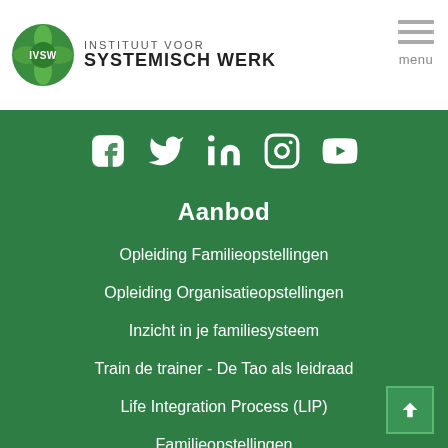[Figure (logo): IVSW logo — circular green emblem with leaf/heart shapes and 'IVSW' text, next to 'INSTITUUT VOOR SYSTEMISCH WERK' text]
[Figure (infographic): Hamburger menu icon (three horizontal lines) with 'menu' label below]
[Figure (infographic): Social media icons row: Facebook, Twitter, LinkedIn, Instagram, YouTube — all white on green background]
Aanbod
Opleiding Familieopstellingen
Opleiding Organisatieopstellingen
Inzicht in je familiesysteem
Train de trainer - De Tao als leidraad
Life Integration Process (LIP)
Familieopstellingen